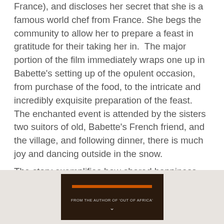France), and discloses her secret that she is a famous world chef from France. She begs the community to allow her to prepare a feast in gratitude for their taking her in.  The major portion of the film immediately wraps one up in Babette's setting up of the opulent occasion, from purchase of the food, to the intricate and incredibly exquisite preparation of the feast.  The enchanted event is attended by the sisters two suitors of old, Babette's French friend, and the village, and following dinner, there is much joy and dancing outside in the snow.
The story exemplifies how shared happiness, laughter and simple pleasures can infuse joy into every soul.
[Figure (photo): Book cover image with dark background, orange bar, and text reading 'FROM THE AUTHOR OF OUT OF AFRICA']